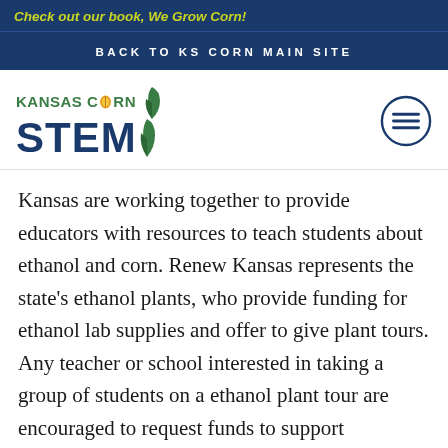Check out our book, We Grow Corn!
BACK TO KS CORN MAIN SITE
[Figure (logo): Kansas Corn STEM logo with green text and corn graphic, blue STEM letters with leaf]
Kansas are working together to provide educators with resources to teach students about ethanol and corn. Renew Kansas represents the state’s ethanol plants, who provide funding for ethanol lab supplies and offer to give plant tours. Any teacher or school interested in taking a group of students on a ethanol plant tour are encouraged to request funds to support